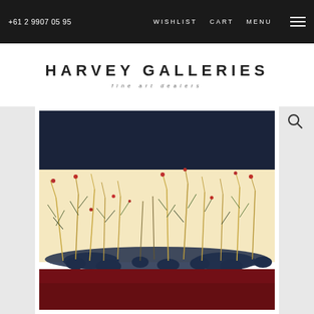+61 2 9907 05 95   WISHLIST   CART   MENU
HARVEY GALLERIES
fine art dealers
[Figure (photo): Painting showing dark navy blue band at top, cream/yellow middle section with botanical grass-like plants growing from dark blue-black soil/rocks, and a deep crimson/dark red band at the bottom. The composition is framed in white. Small red flower accents among the grass stems. The artwork has three horizontal zones of color.]